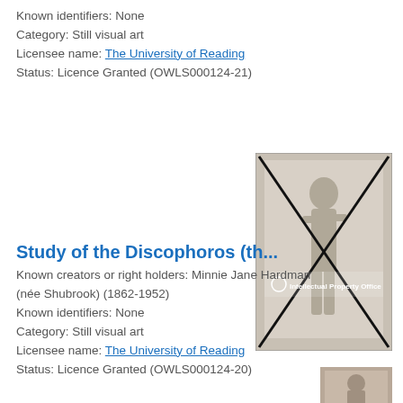Known identifiers: None
Category: Still visual art
Licensee name: The University of Reading
Status: Licence Granted (OWLS000124-21)
[Figure (photo): Photograph of a classical male figure sculpture/drawing, watermarked with Intellectual Property Office logo and crossed out with black X marks.]
Study of the Discophoros (th...
Known creators or right holders: Minnie Jane Hardman (née Shubrook) (1862-1952)
Known identifiers: None
Category: Still visual art
Licensee name: The University of Reading
Status: Licence Granted (OWLS000124-20)
[Figure (photo): Partially visible thumbnail of another artwork at the bottom of the page.]